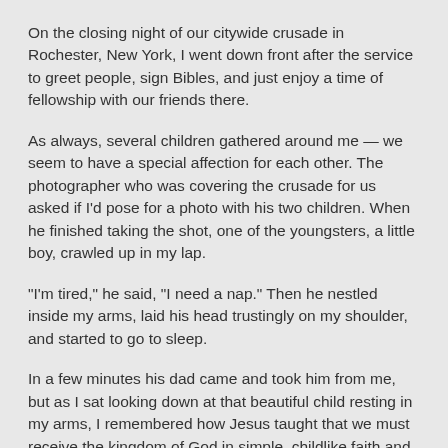On the closing night of our citywide crusade in Rochester, New York, I went down front after the service to greet people, sign Bibles, and just enjoy a time of fellowship with our friends there.
As always, several children gathered around me — we seem to have a special affection for each other. The photographer who was covering the crusade for us asked if I'd pose for a photo with his two children. When he finished taking the shot, one of the youngsters, a little boy, crawled up in my lap.
“I’m tired,” he said, “I need a nap.” Then he nestled inside my arms, laid his head trustingly on my shoulder, and started to go to sleep.
In a few minutes his dad came and took him from me, but as I sat looking down at that beautiful child resting in my arms, I remembered how Jesus taught that we must receive the kingdom of God in simple, childlike faith and trust… and rest in Him.